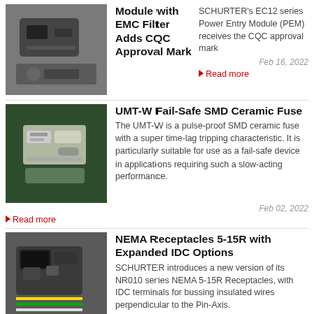[Figure (photo): Power Entry Module with EMC filter, close-up product photo]
Module with EMC Filter Adds CQC Approval Mark
SCHURTER's EC12 series Power Entry Module (PEM) receives the CQC approval mark
Feb 16, 2022
Read more
[Figure (photo): UMT-W SMD ceramic fuse product photo on green background]
UMT-W Fail-Safe SMD Ceramic Fuse
The UMT-W is a pulse-proof SMD ceramic fuse with a super time-lag tripping characteristic. It is particularly suitable for use as a fail-safe device in applications requiring such a slow-acting performance.
Feb 02, 2022
Read more
[Figure (photo): NEMA 5-15R receptacle with IDC terminals and colored wires]
NEMA Receptacles 5-15R with Expanded IDC Options
SCHURTER introduces a new version of its NR010 series NEMA 5-15R Receptacles, with IDC terminals for bussing insulated wires perpendicular to the Pin-Axis. The new version completes the range with both vertical and horizontal bussed wire options.
Jan 26, 2022
Read more